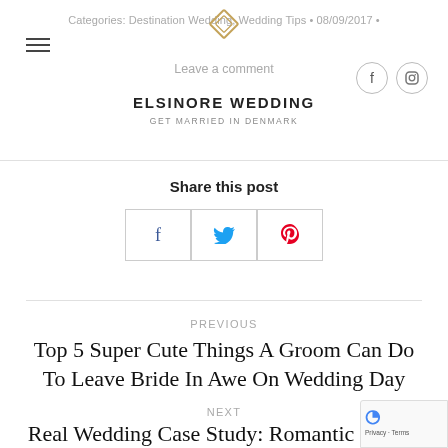Categories: Destination Wedding, Wedding Tips • 08/09/2017 • Leave a comment | ELSINORE WEDDING — GET MARRIED IN DENMARK
Share this post
PREVIOUS
Top 5 Super Cute Things A Groom Can Do To Leave Bride In Awe On Wedding Day
NEXT
Real Wedding Case Study: Romantic Beach Destination Wedding of a Russian